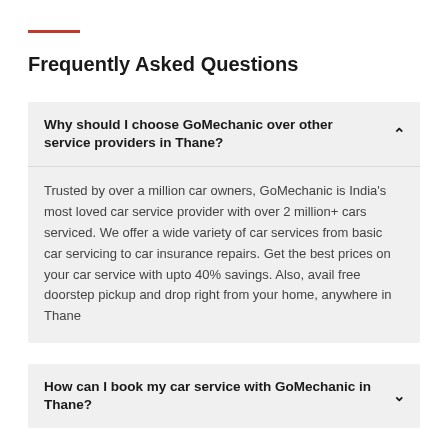Frequently Asked Questions
Why should I choose GoMechanic over other service providers in Thane?
Trusted by over a million car owners, GoMechanic is India's most loved car service provider with over 2 million+ cars serviced. We offer a wide variety of car services from basic car servicing to car insurance repairs. Get the best prices on your car service with upto 40% savings. Also, avail free doorstep pickup and drop right from your home, anywhere in Thane
How can I book my car service with GoMechanic in Thane?